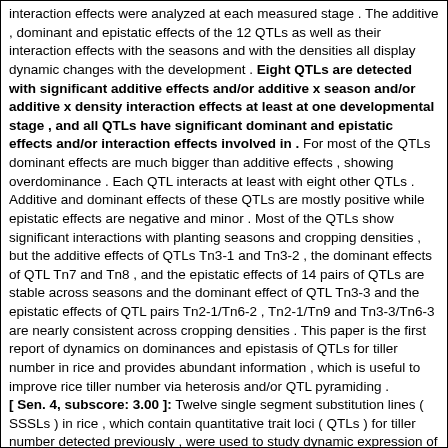interaction effects were analyzed at each measured stage . The additive , dominant and epistatic effects of the 12 QTLs as well as their interaction effects with the seasons and with the densities all display dynamic changes with the development . Eight QTLs are detected with significant additive effects and/or additive x season and/or additive x density interaction effects at least at one developmental stage , and all QTLs have significant dominant and epistatic effects and/or interaction effects involved in . For most of the QTLs dominant effects are much bigger than additive effects , showing overdominance . Each QTL interacts at least with eight other QTLs . Additive and dominant effects of these QTLs are mostly positive while epistatic effects are negative and minor . Most of the QTLs show significant interactions with planting seasons and cropping densities , but the additive effects of QTLs Tn3-1 and Tn3-2 , the dominant effects of QTL Tn7 and Tn8 , and the epistatic effects of 14 pairs of QTLs are stable across seasons and the dominant effect of QTL Tn3-3 and the epistatic effects of QTL pairs Tn2-1/Tn6-2 , Tn2-1/Tn9 and Tn3-3/Tn6-3 are nearly consistent across cropping densities . This paper is the first report of dynamics on dominances and epistasis of QTLs for tiller number in rice and provides abundant information , which is useful to improve rice tiller number via heterosis and/or QTL pyramiding .
[ Sen. 4, subscore: 3.00 ]: Twelve single segment substitution lines ( SSSLs ) in rice , which contain quantitative trait loci ( QTLs ) for tiller number detected previously , were used to study dynamic expression of the QTLs in this study . These SSSLs and their recipient , Hua-Jing-Xian 74 ( HJX74 ) , were used to produce 78 crossing combinations first , and then these combinations and their parents were grown in two planting seasons with three cropping densities . Tiller number was measured at seven developmental stages . QTL effects including main effects ( additive , dominance and epistasis ) , QTL x season and QTL x density interaction effects were analyzed at each measured stage .